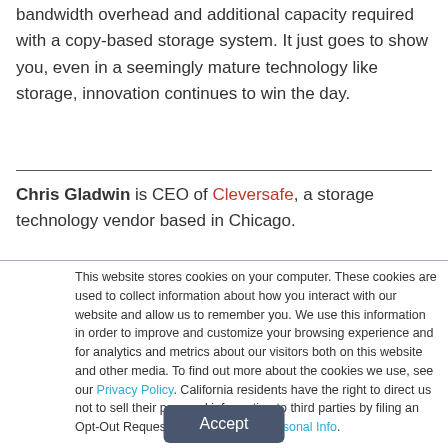bandwidth overhead and additional capacity required with a copy-based storage system. It just goes to show you, even in a seemingly mature technology like storage, innovation continues to win the day.
Chris Gladwin is CEO of Cleversafe, a storage technology vendor based in Chicago.
This website stores cookies on your computer. These cookies are used to collect information about how you interact with our website and allow us to remember you. We use this information in order to improve and customize your browsing experience and for analytics and metrics about our visitors both on this website and other media. To find out more about the cookies we use, see our Privacy Policy. California residents have the right to direct us not to sell their personal information to third parties by filing an Opt-Out Request: Do Not Sell My Personal Info.